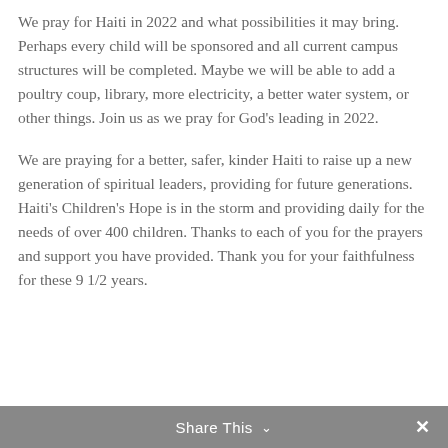We pray for Haiti in 2022 and what possibilities it may bring. Perhaps every child will be sponsored and all current campus structures will be completed. Maybe we will be able to add a poultry coup, library, more electricity, a better water system, or other things. Join us as we pray for God's leading in 2022.
We are praying for a better, safer, kinder Haiti to raise up a new generation of spiritual leaders, providing for future generations. Haiti's Children's Hope is in the storm and providing daily for the needs of over 400 children. Thanks to each of you for the prayers and support you have provided. Thank you for your faithfulness for these 9 1/2 years.
Share This ∨  ✕